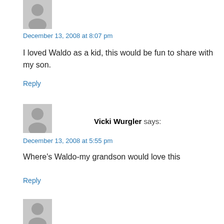[Figure (illustration): Gray avatar placeholder icon (person silhouette) at top of first comment]
December 13, 2008 at 8:07 pm
I loved Waldo as a kid, this would be fun to share with my son.
Reply
[Figure (illustration): Gray avatar placeholder icon (person silhouette) for Vicki Wurgler comment]
Vicki Wurgler says:
December 13, 2008 at 5:55 pm
Where's Waldo-my grandson would love this
Reply
[Figure (illustration): Gray avatar placeholder icon (person silhouette) at bottom, partially visible, for next commenter]